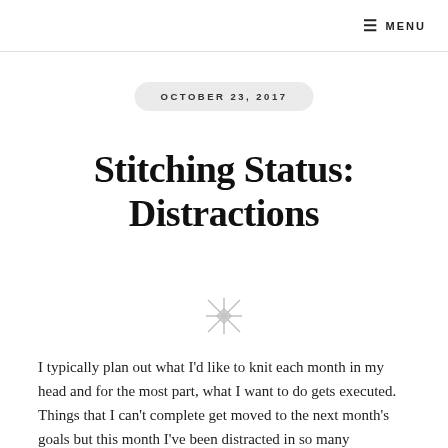☰ MENU
OCTOBER 23, 2017
Stitching Status: Distractions
[Figure (illustration): Decorative cross-stitch or asterisk-style ornamental divider icon in light gray]
I typically plan out what I'd like to knit each month in my head and for the most part, what I want to do gets executed. Things that I can't complete get moved to the next month's goals but this month I've been distracted in so many